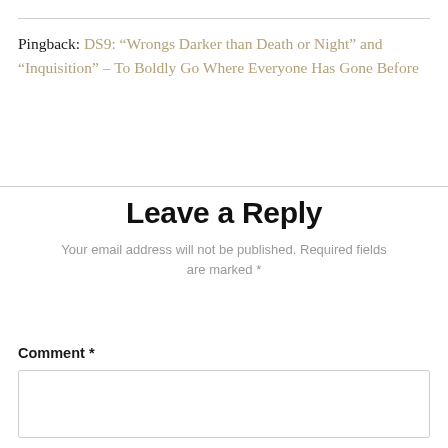Pingback: DS9: “Wrongs Darker than Death or Night” and “Inquisition” – To Boldly Go Where Everyone Has Gone Before
Leave a Reply
Your email address will not be published. Required fields are marked *
Comment *